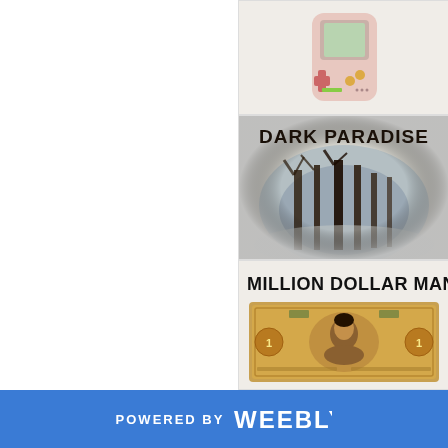[Figure (illustration): Game Boy style handheld device with pink/colorful design, shown as a thumbnail image in upper right]
[Figure (illustration): Dark Paradise album art: foggy misty forest with dark trees, text 'DARK PARADISE' in bold black letters at top]
[Figure (illustration): Million Dollar Man: text 'MILLION DOLLAR MAN' in bold block letters, with image of a currency/banknote featuring a portrait]
POWERED BY weebly